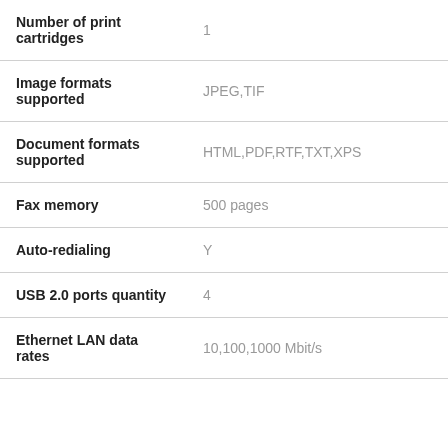| Attribute | Value |
| --- | --- |
| Number of print cartridges | 1 |
| Image formats supported | JPEG,TIF |
| Document formats supported | HTML,PDF,RTF,TXT,XPS |
| Fax memory | 500 pages |
| Auto-redialing | Y |
| USB 2.0 ports quantity | 4 |
| Ethernet LAN data rates | 10,100,1000 Mbit/s |